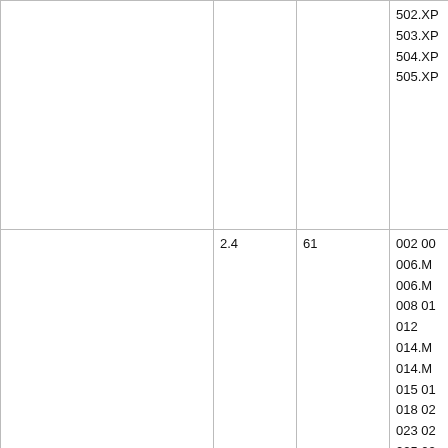|  |  |  |  |
| --- | --- | --- | --- |
|  |  | 502.XP
503.XP
504.XP
505.XP |
|  | 2.4 | 61 | 002 00
006.M
006.M
008 01
012
014.M
014.M
015 01
018 02
023 02
025 02
028.M
028.M
029 03
031 03 |